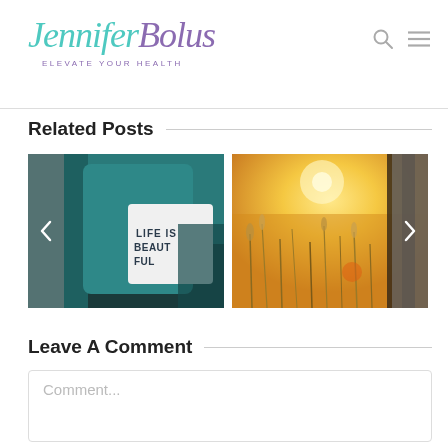[Figure (logo): Jennifer Bolus - Elevate Your Health logo with teal and purple script text]
Related Posts
[Figure (photo): Left photo: teal armchair with white pillow reading 'LIFE IS BEAUTIFUL']
[Figure (photo): Right photo: sunlit golden field with tall grasses and trees]
Leave A Comment
Comment...